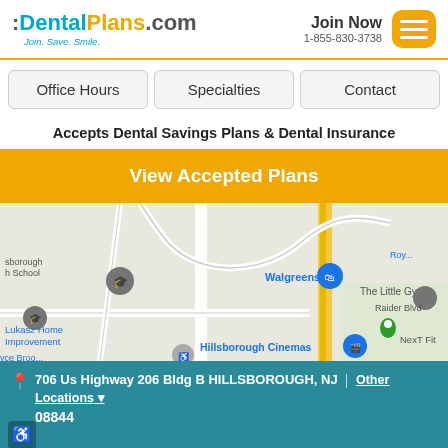[Figure (logo): DentalPlans.com logo with tagline 'Join. Save. Smile.']
Join Now
1-855-830-3738
Office Hours
Specialties
Contact
Accepts Dental Savings Plans & Dental Insurance
View Accepted Plans
[Figure (map): Google Map showing Hillsborough NJ area with markers for Walgreens, The Little Gym, Hillsborough Cinemas, Lukasz Home Improvement, NexT Fit, and a high school.]
706 Us Highway 206 Bldg B HILLSBOROUGH, NJ 08844
Other Locations